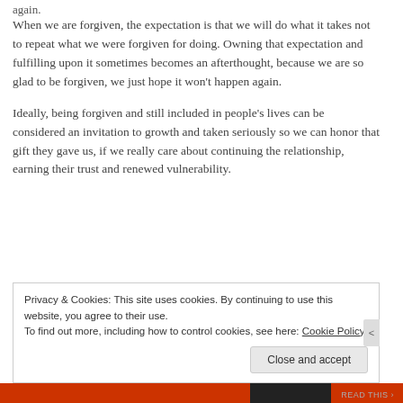again.
When we are forgiven, the expectation is that we will do what it takes not to repeat what we were forgiven for doing. Owning that expectation and fulfilling upon it sometimes becomes an afterthought, because we are so glad to be forgiven, we just hope it won't happen again.
Ideally, being forgiven and still included in people's lives can be considered an invitation to growth and taken seriously so we can honor that gift they gave us, if we really care about continuing the relationship, earning their trust and renewed vulnerability.
Privacy & Cookies: This site uses cookies. By continuing to use this website, you agree to their use.
To find out more, including how to control cookies, see here: Cookie Policy
Close and accept